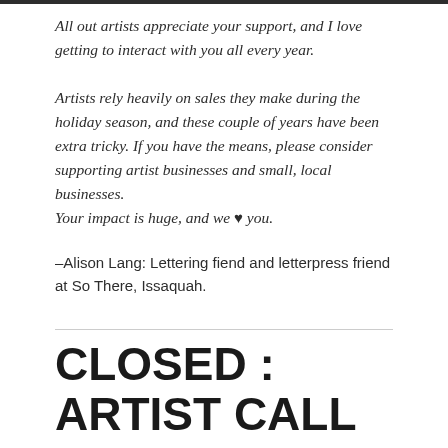All out artists appreciate your support, and I love getting to interact with you all every year.
Artists rely heavily on sales they make during the holiday season, and these couple of years have been extra tricky. If you have the means, please consider supporting artist businesses and small, local businesses.
Your impact is huge, and we ♥ you.
–Alison Lang: Lettering fiend and letterpress friend at So There, Issaquah.
CLOSED : ARTIST CALL